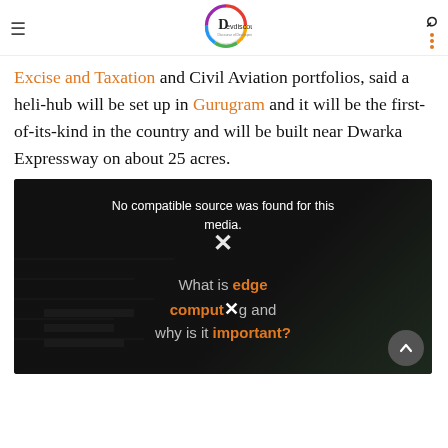Devdiscourse — Discourse of Development
Excise and Taxation and Civil Aviation portfolios, said a heli-hub will be set up in Gurugram and it will be the first-of-its-kind in the country and will be built near Dwarka Expressway on about 25 acres.
[Figure (screenshot): Video player with black background showing message 'No compatible source was found for this media.' and background text 'What is edge computing and why is it important?' with a close (X) button and scroll-to-top button.]